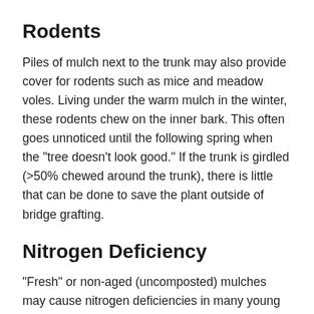Rodents
Piles of mulch next to the trunk may also provide cover for rodents such as mice and meadow voles. Living under the warm mulch in the winter, these rodents chew on the inner bark. This often goes unnoticed until the following spring when the "tree doesn't look good." If the trunk is girdled (>50% chewed around the trunk), there is little that can be done to save the plant outside of bridge grafting.
Nitrogen Deficiency
"Fresh" or non-aged (uncomposted) mulches may cause nitrogen deficiencies in many young plants. Decomposing bacteria need an ample supply of nitrogen to break down the mulch. Since bark mulches have little nitrogen available, the bacteria utilize the soil nitrogen. This process may cause nutrient deficiencies, especially when fine-textured mulch is mixed down into the soil. Look for